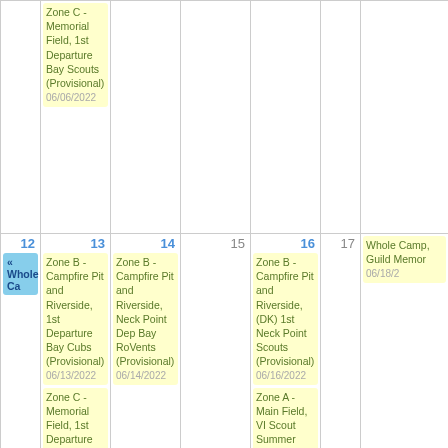| Sun | Mon(top) | Tue(top) | Wed(top) | Thu(top) | Fri(top) | Sat(top) |
| --- | --- | --- | --- | --- | --- | --- |
|  | Zone C - Memorial Field, 1st Departure Bay Scouts (Provisional) 06/06/2022 |  |  |  |  |  |
| 12 | 13 | 14 | 15 | 16 | 17 |  |